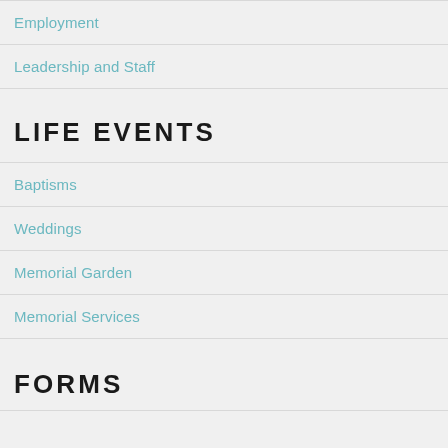Employment
Leadership and Staff
LIFE EVENTS
Baptisms
Weddings
Memorial Garden
Memorial Services
FORMS